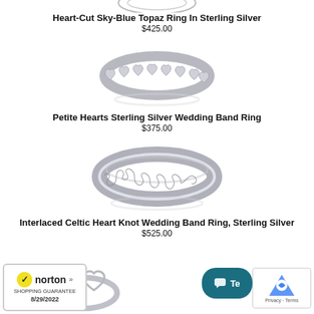[Figure (photo): Partial view of Heart-Cut Sky-Blue Topaz Ring in Sterling Silver product image at top]
Heart-Cut Sky-Blue Topaz Ring In Sterling Silver
$425.00
[Figure (photo): Petite Hearts Sterling Silver Wedding Band Ring product image - silver ring with small heart shapes around band]
Petite Hearts Sterling Silver Wedding Band Ring
$375.00
[Figure (photo): Interlaced Celtic Heart Knot Wedding Band Ring in Sterling Silver - wide silver band with interlaced knot pattern]
Interlaced Celtic Heart Knot Wedding Band Ring, Sterling Silver
$525.00
[Figure (photo): Partial view of another silver heart ring at bottom]
[Figure (logo): Norton Shopping Guarantee badge dated 8/29/2022]
[Figure (screenshot): Chat button overlay and reCAPTCHA badge]